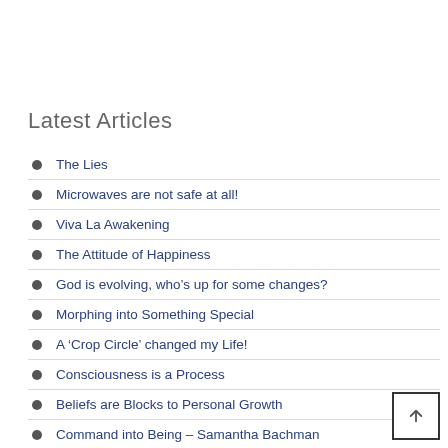Latest Articles
The Lies
Microwaves are not safe at all!
Viva La Awakening
The Attitude of Happiness
God is evolving, who’s up for some changes?
Morphing into Something Special
A ‘Crop Circle’ changed my Life!
Consciousness is a Process
Beliefs are Blocks to Personal Growth
Command into Being – Samantha Bachman